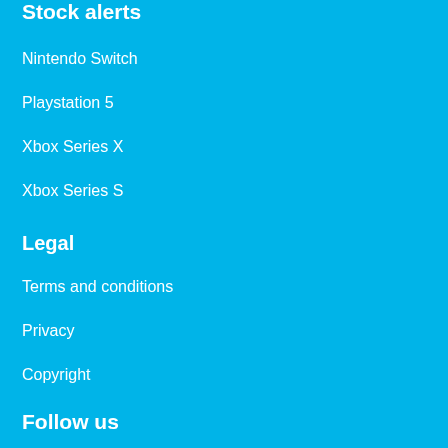Stock alerts
Nintendo Switch
Playstation 5
Xbox Series X
Xbox Series S
Legal
Terms and conditions
Privacy
Copyright
Follow us
Twitter
Instagram
Facebook